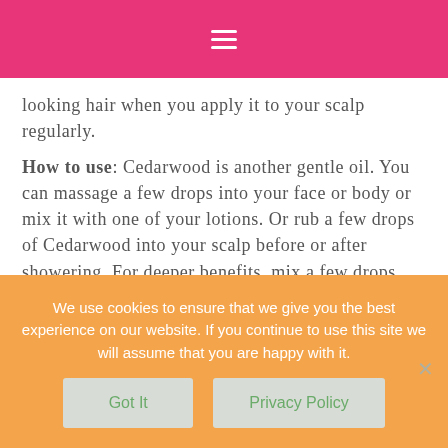≡
looking hair when you apply it to your scalp regularly.
How to use: Cedarwood is another gentle oil. You can massage a few drops into your face or body or mix it with one of your lotions. Or rub a few drops of Cedarwood into your scalp before or after showering. For deeper benefits, mix a few drops with a carrier oil, massage into scalp, and wait 30-60 minutes
We use cookies to ensure that we give you the best experience on our website. If you continue to use this site we will assume that you are happy with it.
Got It
Privacy Policy